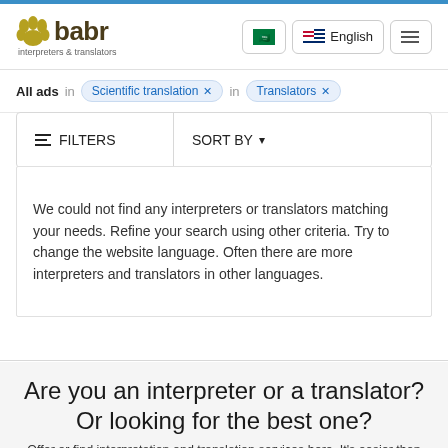babr interpreters & translators — All ads in Scientific translation × in Translators ×
≡ FILTERS   SORT BY ▾
We could not find any interpreters or translators matching your needs. Refine your search using other criteria. Try to change the website language. Often there are more interpreters and translators in other languages.
Are you an interpreter or a translator? Or looking for the best one?
Offer or find interpretation and translation services here. It's easier than you